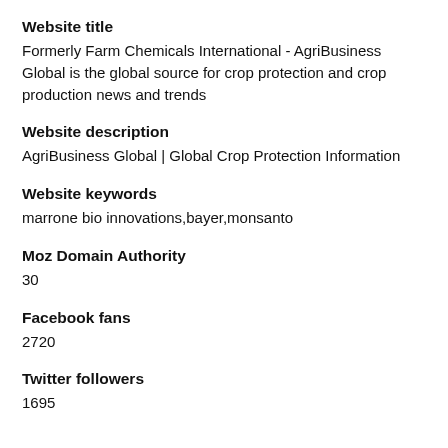Website title
Formerly Farm Chemicals International - AgriBusiness Global is the global source for crop protection and crop production news and trends
Website description
AgriBusiness Global | Global Crop Protection Information
Website keywords
marrone bio innovations,bayer,monsanto
Moz Domain Authority
30
Facebook fans
2720
Twitter followers
1695